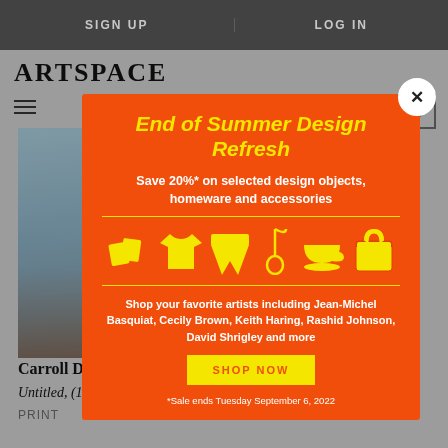SIGN UP   LOG IN
ARTSPACE
[Figure (screenshot): Partial view of an artwork with blue and brown tones]
Carroll Dunham
Untitled, (11/18/10)
PRINT
[Figure (infographic): Orange modal popup: End of Summer Design Refresh. Save 20%* on selected design objects, homeware and accessories. Icons of pillows, t-shirt, shorts, necklace, cup, tote bag. Shop your favorite artists including Jean-Michel Basquiat, Cecily Brown, Keith Haring, Rashid Johnson, David Shrigley and more. SHOP NOW button. *Sale ends Tuesday September 6, 2022.]